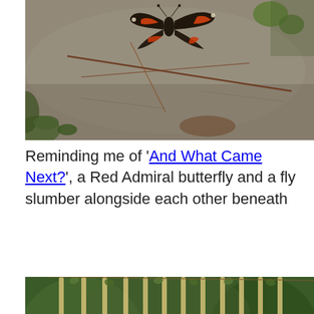[Figure (photo): Close-up photograph of a Red Admiral butterfly with orange and black wings resting on a stone surface with twigs and small green plants around it.]
Reminding me of 'And What Came Next?', a Red Admiral butterfly and a fly slumber alongside each other beneath
[Figure (photo): Photograph of hanging catkins or similar elongated pale yellow-green flowering structures dangling from thin branches with small leaves, against a blurred green background.]